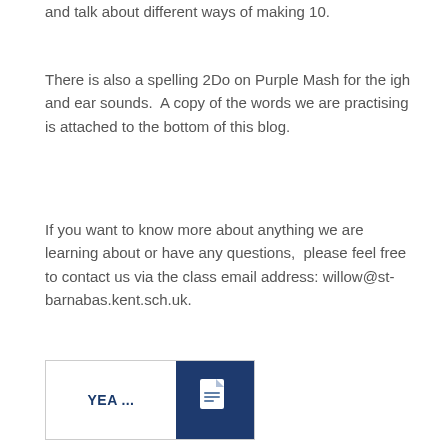and talk about different ways of making 10.
There is also a spelling 2Do on Purple Mash for the igh and ear sounds.  A copy of the words we are practising is attached to the bottom of this blog.
If you want to know more about anything we are learning about or have any questions,  please feel free to contact us via the class email address: willow@st-barnabas.kent.sch.uk.
[Figure (other): Document attachment thumbnail showing label 'YEA...' on the left and a dark navy blue icon panel with a document/file icon on the right]